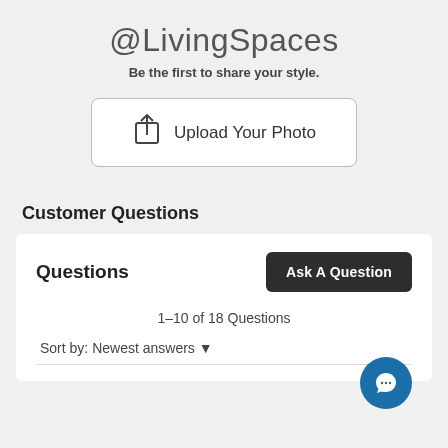@LivingSpaces
Be the first to share your style.
[Figure (other): Upload Your Photo button with share/upload icon]
Customer Questions
Questions
[Figure (other): Ask A Question dark button]
1–10 of 18 Questions
Sort by: Newest answers ▼
[Figure (other): Blue circular chat/messaging widget button]